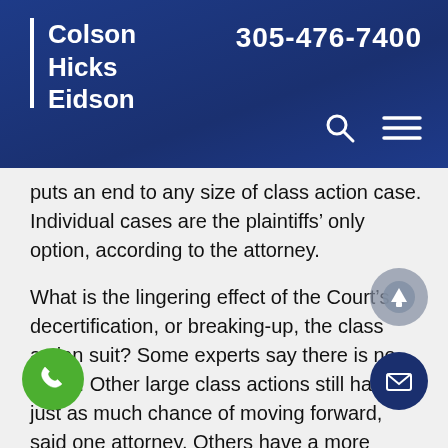Colson Hicks Eidson | 305-476-7400
puts an end to any size of class action case. Individual cases are the plaintiffs' only option, according to the attorney.
What is the lingering effect of the Court's decertification, or breaking-up, the class action suit? Some experts say there is no effect. Other large class actions still have just as much chance of moving forward, said one attorney. Others have a more dismal outlook. One attorney commented it makes a tougher barrier for all types of class actions, including ones not based on gender discrimination.
Either way, the plaintiffs appear to have plenty of fight